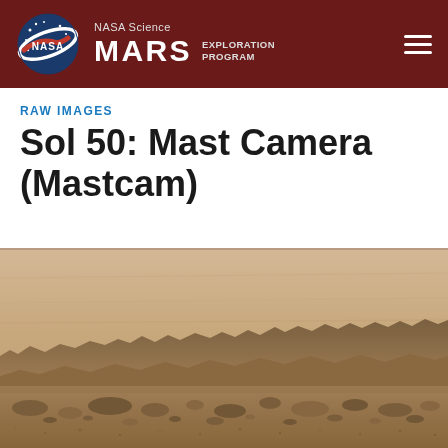NASA Science MARS EXPLORATION PROGRAM
RAW IMAGES
Sol 50: Mast Camera (Mastcam)
[Figure (photo): Raw image from Mars surface taken by Mast Camera (Mastcam) on Sol 50. Shows a wide panoramic view of the Martian landscape with rocky terrain in the foreground and a hazy tan/ochre sky. A rocky ridge line is visible in the middle distance, with scattered rocks and reddish-brown sandy soil in the near foreground.]